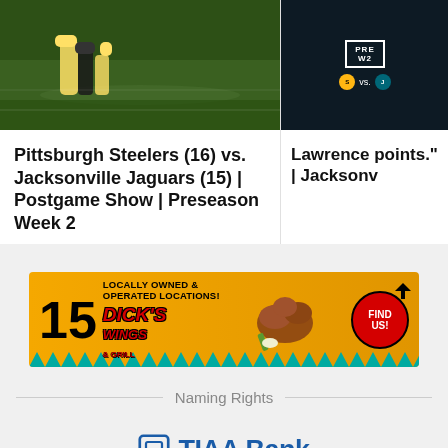[Figure (photo): Football action shot - Pittsburgh Steelers vs Jacksonville Jaguars game photo]
[Figure (screenshot): Pittsburgh Steelers vs Jacksonville Jaguars PRE W2 broadcast graphic]
[Figure (screenshot): QB Trevor Lawrence Jacksonville Jaguars card with Pet Paradise sponsor]
Pittsburgh Steelers (16) vs. Jacksonville Jaguars (15) | Postgame Show | Preseason Week 2
Lawrence points." | Jacksonv
[Figure (infographic): Dick's Wings & Grill advertisement banner - 15 Locally Owned & Operated Locations - Find Us!]
Naming Rights
[Figure (logo): TIAA Bank logo]